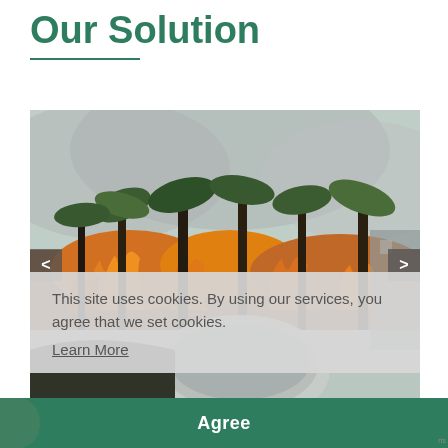Our Solution
[Figure (photo): Wildfire scene photographed from inside a vehicle showing burning palm trees and dense smoke, with a car side mirror visible in the foreground. Navigation arrows on left and right sides of the slideshow.]
This site uses cookies. By using our services, you agree that we set cookies.
Learn More
Agree